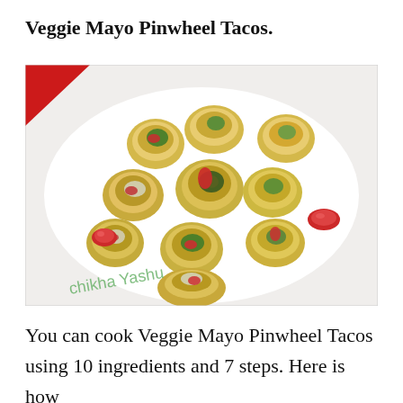Veggie Mayo Pinwheel Tacos.
[Figure (photo): A top-down photo of multiple veggie mayo pinwheel tacos arranged on a white surface. The pinwheels are made from yellow tortillas rolled with cream filling, green herbs, red peppers, and olives. Small cherry tomatoes are scattered around. A green watermark text 'Shikha Yashu' is visible at the bottom left.]
You can cook Veggie Mayo Pinwheel Tacos using 10 ingredients and 7 steps. Here is how